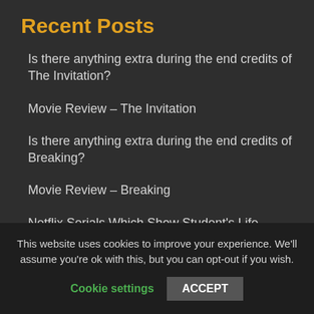Recent Posts
Is there anything extra during the end credits of The Invitation?
Movie Review – The Invitation
Is there anything extra during the end credits of Breaking?
Movie Review – Breaking
Netflix Serials Which Show Student's Life
This website uses cookies to improve your experience. We'll assume you're ok with this, but you can opt-out if you wish.
Cookie settings   ACCEPT